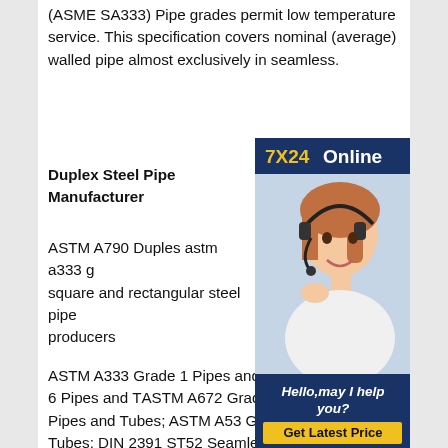(ASME SA333) Pipe grades permit low temperature service. This specification covers nominal (average) walled pipe almost exclusively in seamless.
[Figure (illustration): Online chat support advertisement with 7X24 Online banner, photo of woman with headset, Hello may I help you text, and Get Latest Price button]
Duplex Steel Pipe Manufacturer
ASTM A790 Duples astm a333 grade square and rectangular steel pipe producers
ASTM A333 Grade 1 Pipes and Tubes; ASTM A333 Grade 6 Pipes and Tubes; ASTM A672 Grade C60 C65 C70 EFW Pipes and Tubes; ASTM A53 Grade B Pipes and Tubes; DIN 2391 ST52 Seamless Pipes and Tubes; ASTM A333 Grade 3 Pipes and Tubes; ASTM A333 Grade 4 Pipes and Tubes; ASTM A333